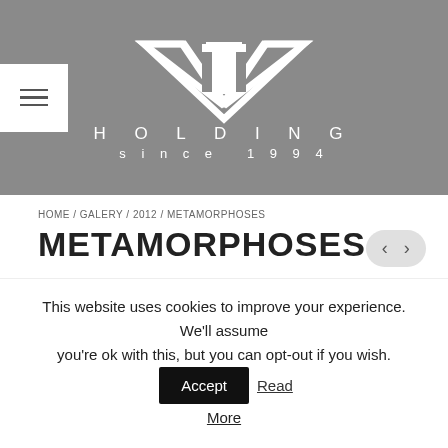[Figure (logo): VT Holding logo with stylized VT mark and text 'HOLDING since 1994' on grey background]
HOME / GALERY / 2012 / METAMORPHOSES
METAMORPHOSES
[Figure (photo): Dark gallery image with faint light beam in center, mostly black]
This website uses cookies to improve your experience. We'll assume you're ok with this, but you can opt-out if you wish. Accept Read More